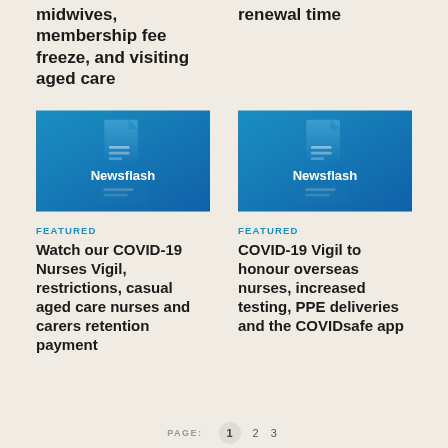midwives, membership fee freeze, and visiting aged care
renewal time
[Figure (illustration): Newsflash thumbnail image with blue gradient background and document icon with text 'Newsflash']
FEATURED
Watch our COVID-19 Nurses Vigil, restrictions, casual aged care nurses and carers retention payment
[Figure (illustration): Newsflash thumbnail image with blue gradient background and document icon with text 'Newsflash']
FEATURED
COVID-19 Vigil to honour overseas nurses, increased testing, PPE deliveries and the COVIDsafe app
PAGE: 1 2 3